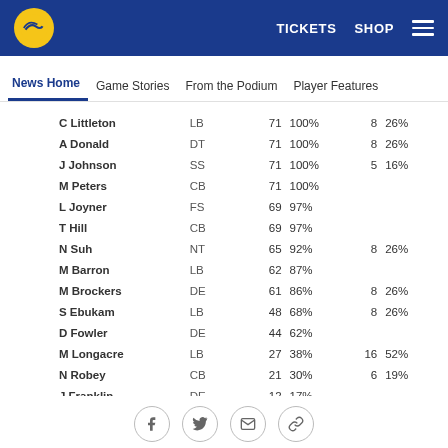LA Rams website header with logo, TICKETS, SHOP, and hamburger menu
News Home | Game Stories | From the Podium | Player Features
| Player | Pos | Snaps | % | ST | % |
| --- | --- | --- | --- | --- | --- |
| C Littleton | LB | 71 | 100% | 8 | 26% |
| A Donald | DT | 71 | 100% | 8 | 26% |
| J Johnson | SS | 71 | 100% | 5 | 16% |
| M Peters | CB | 71 | 100% |  |  |
| L Joyner | FS | 69 | 97% |  |  |
| T Hill | CB | 69 | 97% |  |  |
| N Suh | NT | 65 | 92% | 8 | 26% |
| M Barron | LB | 62 | 87% |  |  |
| M Brockers | DE | 61 | 86% | 8 | 26% |
| S Ebukam | LB | 48 | 68% | 8 | 26% |
| D Fowler | DE | 44 | 62% |  |  |
| M Longacre | LB | 27 | 38% | 16 | 52% |
| N Robey | CB | 21 | 30% | 6 | 19% |
| J Franklin | DE | 12 | 17% |  |  |
| M Christian | FS | 11 | 15% | 23 | 74% |